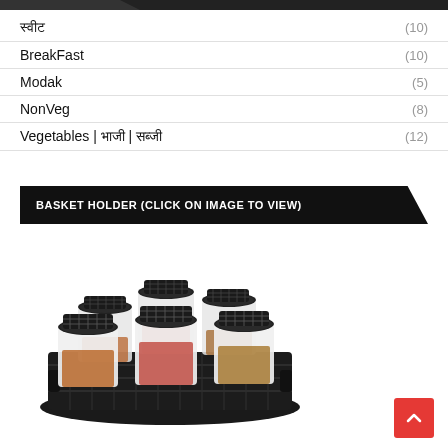स्वीट (10)
BreakFast (10)
Modak (5)
NonVeg (8)
Vegetables | भाजी | सब्जी (12)
BASKET HOLDER (CLICK ON IMAGE TO VIEW)
[Figure (photo): A black wicker basket holder containing 6 glass spice jars with black mesh/grid lids, filled with various colorful spices including orange, red, and brown spices/seeds.]